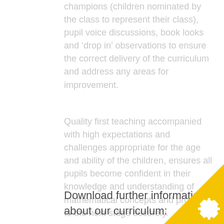champions (children nominated by the class to represent their class), pupil voice discussions, book looks and ‘drop in’ observations to ensure the correct delivery of the curriculum and address any areas for improvement.
Quality first teaching accompanied with high expectations and challenges appropriate for the age and ability of the children, ensures all pupils become confident in their knowledge and understanding of mathematical concepts and progress to the next stage securely.
Download further information about our curriculum: